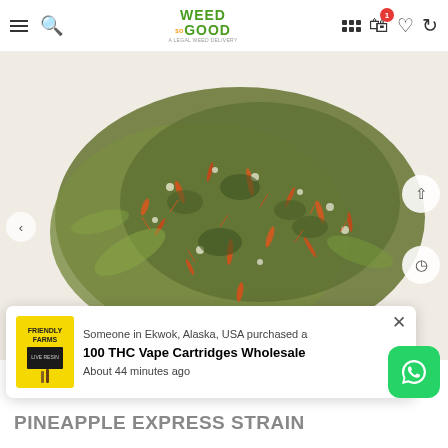WEED SO GOOD — navigation header with hamburger, search, logo, grid, cart (badge:1), wishlist, refresh icons
[Figure (photo): Close-up photo of a cannabis bud (green and orange flower) on a white background, with left arrow and right arrow navigation buttons and a clock/history button overlaid]
Someone in Ekwok, Alaska, USA purchased a
100 THC Vape Cartridges Wholesale
About 44 minutes ago
PINEAPPLE EXPRESS STRAIN